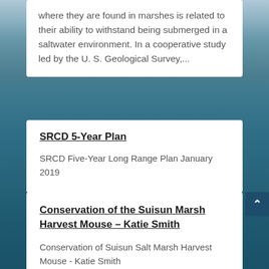where they are found in marshes is related to their ability to withstand being submerged in a saltwater environment. In a cooperative study led by the U. S. Geological Survey,...
SRCD 5-Year Plan
SRCD Five-Year Long Range Plan January 2019
Conservation of the Suisun Marsh Harvest Mouse – Katie Smith
Conservation of Suisun Salt Marsh Harvest Mouse - Katie Smith